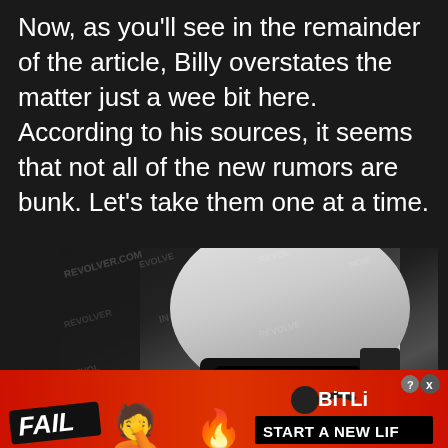Now, as you'll see in the remainder of the article, Billy overstates the matter just a wee bit here. According to his sources, it seems that not all of the new rumors are bunk. Let's take them one at a time.
[Figure (photo): Close-up photo of a Star Wars-style white Stormtrooper helmet against a dark background, with watermark text 'REVOLVER.COM' repeated across the image]
[Figure (screenshot): Advertisement banner with red background showing 'FAIL' badge, cartoon facepalm emoji, flame emoji, BitLife logo with sperm icon, and 'START A NEW LIF' text on black background]